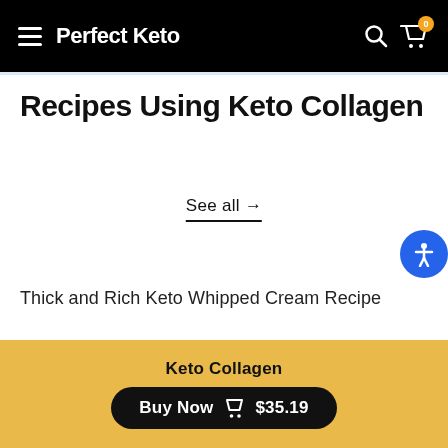Perfect Keto
Recipes Using Keto Collagen
See all →
Thick and Rich Keto Whipped Cream Recipe
Keto Collagen
Buy Now  $35.19